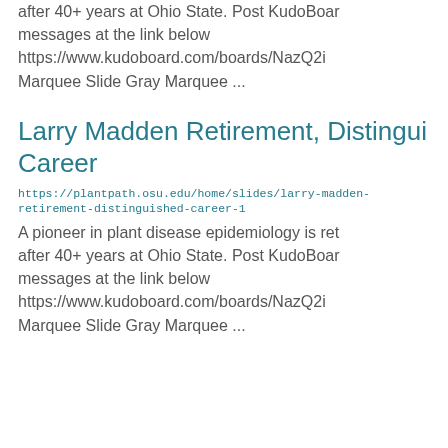after 40+ years at Ohio State. Post KudoBoard messages at the link below https://www.kudoboard.com/boards/NazQ2i Marquee Slide Gray Marquee ...
Larry Madden Retirement, Distinguished Career
https://plantpath.osu.edu/home/slides/larry-madden-retirement-distinguished-career-1
A pioneer in plant disease epidemiology is retiring after 40+ years at Ohio State. Post KudoBoard messages at the link below https://www.kudoboard.com/boards/NazQ2i Marquee Slide Gray Marquee ...